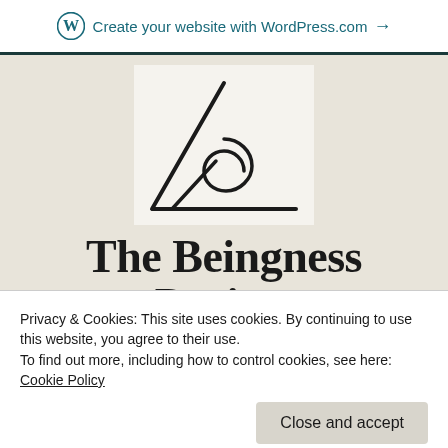Create your website with WordPress.com →
[Figure (logo): The Beingness Project logo: a triangle outline with a spiral inside, hand-drawn style, black on white background]
The Beingness Project
Privacy & Cookies: This site uses cookies. By continuing to use this website, you agree to their use.
To find out more, including how to control cookies, see here: Cookie Policy
Close and accept
≡ MENU